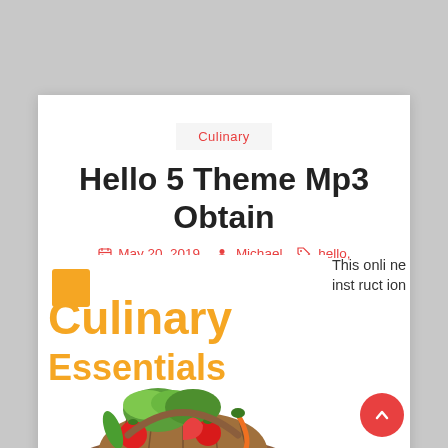Culinary
Hello 5 Theme Mp3 Obtain
May 20, 2019  Michael  hello, obtain, theme
[Figure (illustration): Book cover showing 'Culinary Essentials' with vegetables/produce in a basket, orange text on white background with an orange square icon]
This online instruction